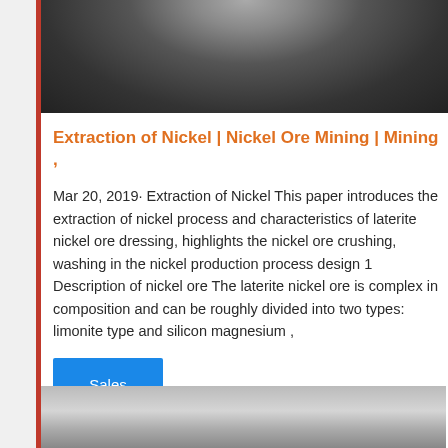[Figure (photo): Close-up photo of nickel ore or mining equipment, dark grey metallic surface with wet appearance]
Extraction of Nickel | Nickel Ore Mining | Mining ,
Mar 20, 2019· Extraction of Nickel This paper introduces the extraction of nickel process and characteristics of laterite nickel ore dressing, highlights the nickel ore crushing, washing in the nickel production process design 1 Description of nickel ore The laterite nickel ore is complex in composition and can be roughly divided into two types: limonite type and silicon magnesium ,
Sales Online
[Figure (photo): Bottom partial photo showing mining or industrial scene, light grey tones]